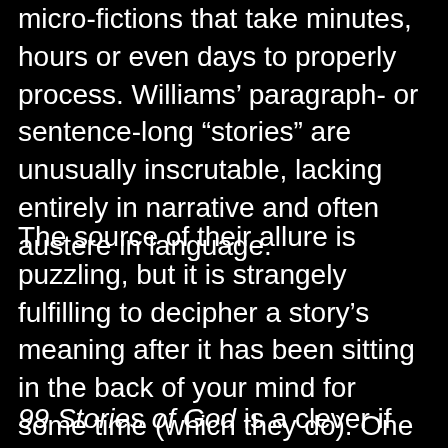micro-fictions that take minutes, hours or even days to properly process. Williams’ paragraph- or sentence-long “stories” are unusually inscrutable, lacking entirely in narrative and often austere in language.
The source of their allure is puzzling, but it is strangely fulfilling to decipher a story’s meaning after it has been sitting in the back of your mind for some time (which they do). One of the more curious recent collections,
99 Stories of God is a clever if